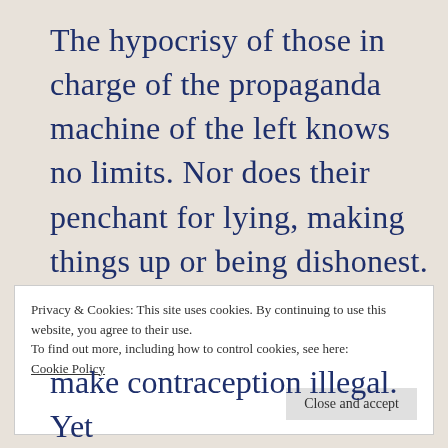The hypocrisy of those in charge of the propaganda machine of the left knows no limits. Nor does their penchant for lying, making things up or being dishonest. It seems that the new effort is in making the
Privacy & Cookies: This site uses cookies. By continuing to use this website, you agree to their use.
To find out more, including how to control cookies, see here:
Cookie Policy
Close and accept
make contraception illegal. Yet